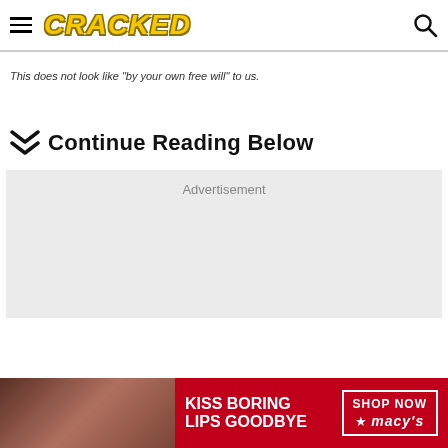CRACKED
This does not look like "by your own free will" to us.
Continue Reading Below
[Figure (other): Advertisement placeholder box with gray background]
[Figure (other): Bottom banner advertisement: KISS BORING LIPS GOODBYE - SHOP NOW - Macy's]